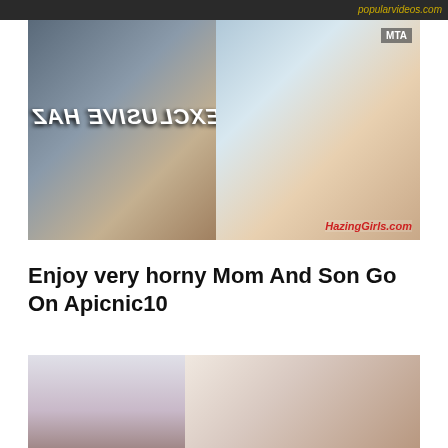[Figure (photo): Partial top strip showing website URL text in gold on dark background]
[Figure (photo): Split image with text overlay reading 'AN EXCLUSIVE HAZ' (mirrored) and HazingGirls.com watermark, MTA badge in corner]
Enjoy very horny Mom And Son Go On Apicnic10
[Figure (photo): Bottom photo showing two dark-haired women]